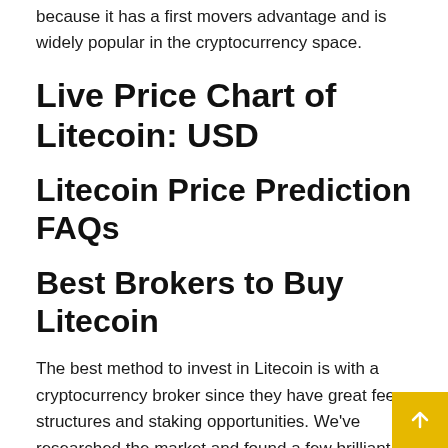because it has a first movers advantage and is widely popular in the cryptocurrency space.
Live Price Chart of Litecoin: USD
Litecoin Price Prediction FAQs
Best Brokers to Buy Litecoin
The best method to invest in Litecoin is with a cryptocurrency broker since they have great fee structures and staking opportunities. We've researched the market and found a few brilliant options for those interested in LTC. You can learn more about them below.